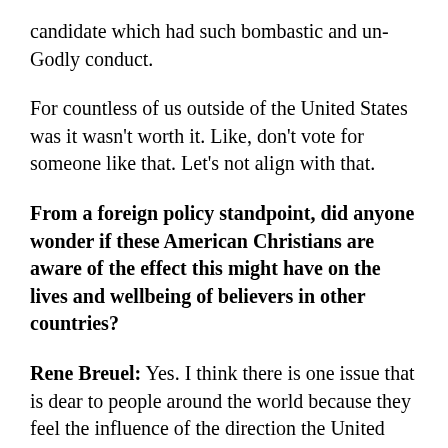candidate which had such bombastic and un-Godly conduct.
For countless of us outside of the United States was it wasn't worth it. Like, don't vote for someone like that. Let's not align with that.
From a foreign policy standpoint, did anyone wonder if these American Christians are aware of the effect this might have on the lives and wellbeing of believers in other countries?
Rene Breuel: Yes. I think there is one issue that is dear to people around the world because they feel the influence of the direction the United States takes. But often it becomes a small concern for voters v. the economy or social concerns.